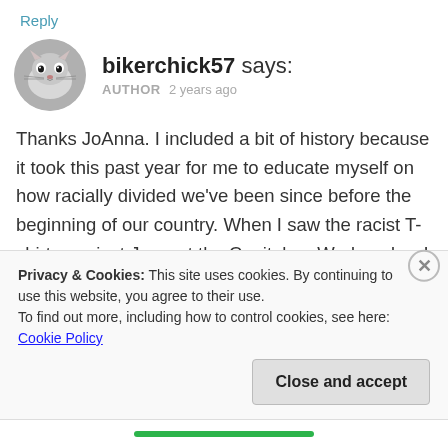Reply
bikerchick57 says: AUTHOR 2 years ago
Thanks JoAnna. I included a bit of history because it took this past year for me to educate myself on how racially divided we've been since before the beginning of our country. When I saw the racist T-shirts against Jews at the Capitol on Wednesday, I wondered how long will it take for us to stop hating others like this. For no real reason other
Privacy & Cookies: This site uses cookies. By continuing to use this website, you agree to their use.
To find out more, including how to control cookies, see here: Cookie Policy